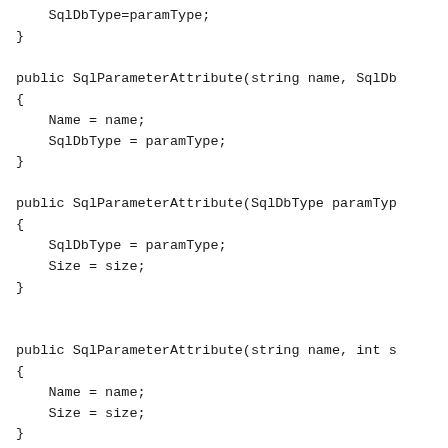SqlDbType=paramType;
}

public SqlParameterAttribute(string name, SqlDb
{
    Name = name;
    SqlDbType = paramType;
}

public SqlParameterAttribute(SqlDbType paramTyp
{
    SqlDbType = paramType;
    Size = size;
}


public SqlParameterAttribute(string name, int s
{
    Name = name;
    Size = size;
}

public SqlParameterAttribute(string name, SqlDb